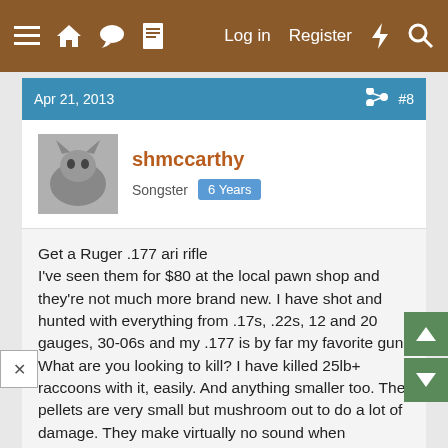≡  🏠  💬  📄    Log in   Register   ⚡   🔍
Apr 21, 2013    #8
shmccarthy
Songster   6 Years
Get a Ruger .177 ari rifle
I've seen them for $80 at the local pawn shop and they're not much more brand new. I have shot and hunted with everything from .17s, .22s, 12 and 20 gauges, 30-06s and my .177 is by far my favorite gun.
What are you looking to kill? I have killed 25lb+ raccoons with it, easily. And anything smaller too. The pellets are very small but mushroom out to do a lot of damage. They make virtually no sound when compared to a .22, using any type of ammunition (at least all the different kinds I've used with mine).
I got mine so I could continue shooting nuisance animals at night without my neighbors complaining and it's worked amazingly so far. They're made very well and mine is